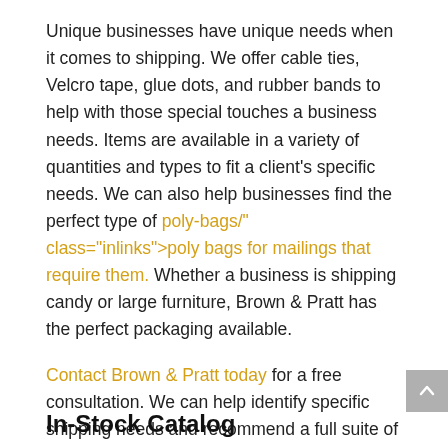Unique businesses have unique needs when it comes to shipping. We offer cable ties, Velcro tape, glue dots, and rubber bands to help with those special touches a business needs. Items are available in a variety of quantities and types to fit a client's specific needs. We can also help businesses find the perfect type of poly-bags/" class="inlinks">poly bags for mailings that require them. Whether a business is shipping candy or large furniture, Brown & Pratt has the perfect packaging available.
Contact Brown & Pratt today for a free consultation. We can help identify specific shipping needs and recommend a full suite of solutions to meet those needs. Once a company has discovered the perfect shipping supplies to safeguard items in transit, the work of making customers happy with reliable, friendly service will be made much easier.
In-Stock Catalog